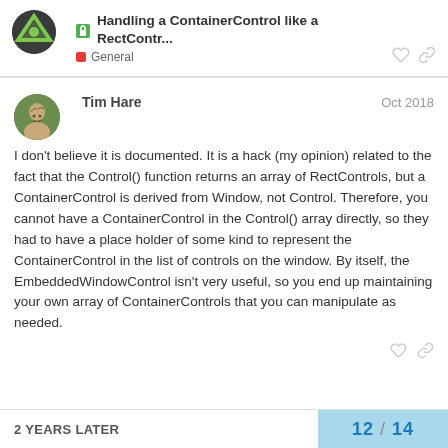Handling a ContainerControl like a RectContr... - General
Tim Hare  Oct 2018
I don't believe it is documented. It is a hack (my opinion) related to the fact that the Control() function returns an array of RectControls, but a ContainerControl is derived from Window, not Control. Therefore, you cannot have a ContainerControl in the Control() array directly, so they had to have a place holder of some kind to represent the ContainerControl in the list of controls on the window. By itself, the EmbeddedWindowControl isn't very useful, so you end up maintaining your own array of ContainerControls that you can manipulate as needed.
2 YEARS LATER  12 / 14